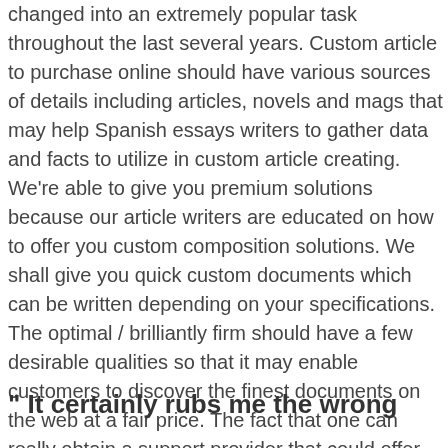changed into an extremely popular task throughout the last several years. Custom article to purchase online should have various sources of details including articles, novels and mags that may help Spanish essays writers to gather data and facts to utilize in custom article creating. We're able to give you premium solutions because our article writers are educated on how to offer you custom composition solutions. We shall give you quick custom documents which can be written depending on your specifications. The optimal / brilliantly firm should have a few desirable qualities so that it may enable customers to discover the finest documents on the web at a fair price. The fact that one can really obtain a support provider that could offer you high quality documents is something which you may never be able to find everywhere. All these sorts of essay writing services really must be outstanding and can ensure customer satisfaction.
" It certainly rubs me the wrong